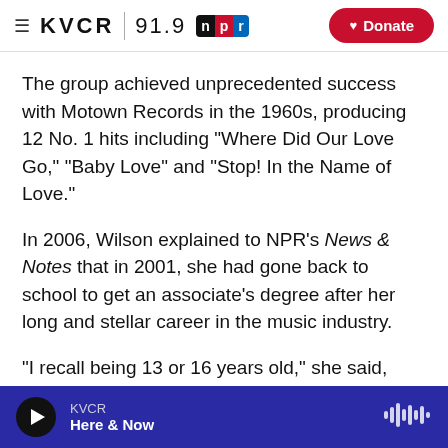KVCR 91.9 NPR | Donate
The group achieved unprecedented success with Motown Records in the 1960s, producing 12 No. 1 hits including "Where Did Our Love Go," "Baby Love" and "Stop! In the Name of Love."
In 2006, Wilson explained to NPR's News & Notes that in 2001, she had gone back to school to get an associate's degree after her long and stellar career in the music industry.
"I recall being 13 or 16 years old," she said, "and signing our first contract, recording contract. Well, I
KVCR | Here & Now